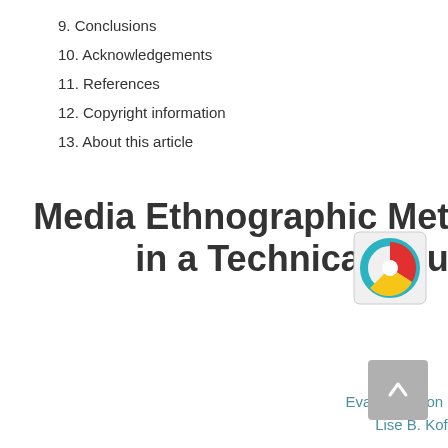9. Conclusions
10. Acknowledgements
11. References
12. Copyright information
13. About this article
Media Ethnographic Methods Targeting students in a Technical Education (Medialogy)
Eva Petersson Brooks , Lise B. Kofoed